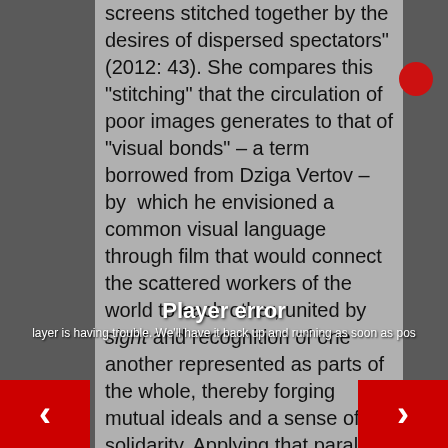screens stitched together by the desires of dispersed spectators" (2012: 43). She compares this "stitching" that the circulation of poor images generates to that of "visual bonds" – a term borrowed from Dziga Vertov – by which he envisioned a common visual language through film that would connect the scattered workers of the world to each other, united by sight and recognition of one another represented as parts of the whole, thereby forging mutual ideals and a sense of solidarity. Applying that parallel to the digital network, online file sharing, comment posting and liking exposes the common global desires to recognize and relate to one another despite geographical or cultural distance, and to create mutual exchanges and acknowledgements within the readily available information market. Steyerl notes that the "optical connections" sprung from cellphone and PC-based poor image circulation.
Player error
Player is having trouble. We'll have it back up and running as soon as possible.